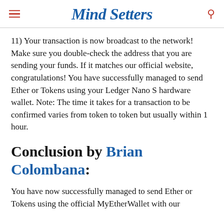Mind Setters
11) Your transaction is now broadcast to the network! Make sure you double-check the address that you are sending your funds. If it matches our official website, congratulations! You have successfully managed to send Ether or Tokens using your Ledger Nano S hardware wallet. Note: The time it takes for a transaction to be confirmed varies from token to token but usually within 1 hour.
Conclusion by Brian Colombana:
You have now successfully managed to send Ether or Tokens using the official MyEtherWallet with our